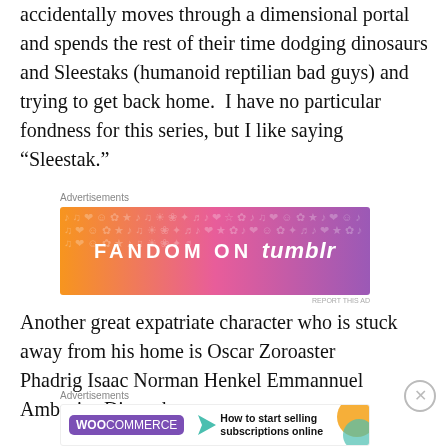accidentally moves through a dimensional portal and spends the rest of their time dodging dinosaurs and Sleestaks (humanoid reptilian bad guys) and trying to get back home.  I have no particular fondness for this series, but I like saying “Sleestak.”
Advertisements
[Figure (other): Tumblr advertisement banner with gradient orange-to-purple background reading FANDOM ON tumblr with decorative music notes and symbols]
Another great expatriate character who is stuck away from his home is Oscar Zoroaster Phadrig Isaac Norman Henkel Emmannuel Ambroise Diggs, known
Advertisements
[Figure (other): WooCommerce advertisement banner on white background with purple logo and text: How to start selling subscriptions online]